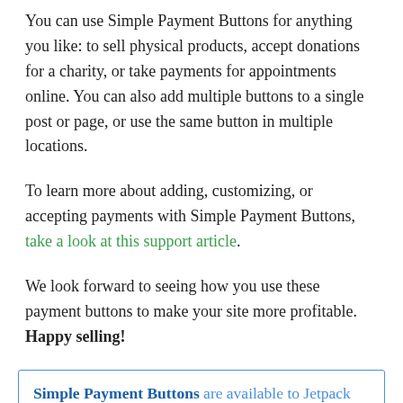You can use Simple Payment Buttons for anything you like: to sell physical products, accept donations for a charity, or take payments for appointments online. You can also add multiple buttons to a single post or page, or use the same button in multiple locations.
To learn more about adding, customizing, or accepting payments with Simple Payment Buttons, take a look at this support article.
We look forward to seeing how you use these payment buttons to make your site more profitable. Happy selling!
Simple Payment Buttons are available to Jetpack Premium and Professional plan